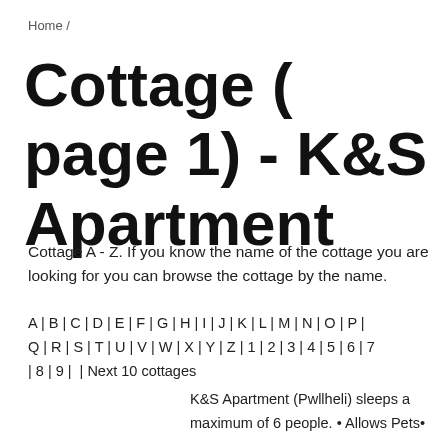Home /
Cottage ( page 1) - K&S Apartment
Cottage A - Z. If you know the name of the cottage you are looking for you can browse the cottage by the name.
A | B | C | D | E | F | G | H | I | J | K | L | M | N | O | P | Q | R | S | T | U | V | W | X | Y | Z | 1 | 2 | 3 | 4 | 5 | 6 | 7 | 8 | 9 | | | Next 10 cottages
K&S Apartment (Pwllheli) sleeps a maximum of 6 people. • Allows Pets•